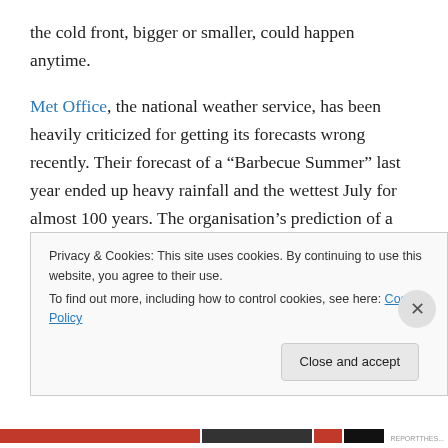the cold front, bigger or smaller, could happen anytime.
Met Office, the national weather service, has been heavily criticized for getting its forecasts wrong recently. Their forecast of a “Barbecue Summer” last year ended up heavy rainfall and the wettest July for almost 100 years. The organisation’s prediction of a mild winter in 2008-09 was also criticised after heavy snow fell last February and parts of southern England had their coldest night for 20 years in January. They issued the prediction of high probability of warm winter 2008/09 and again, they
Privacy & Cookies: This site uses cookies. By continuing to use this website, you agree to their use.
To find out more, including how to control cookies, see here: Cookie Policy
Close and accept